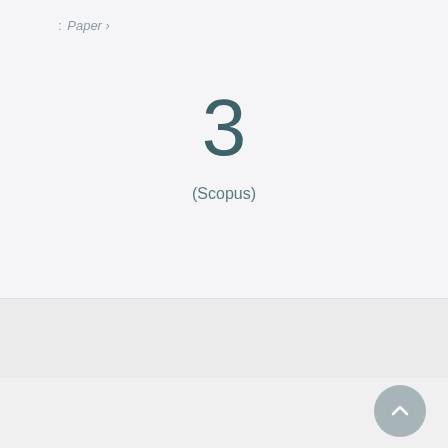: Paper ›
3
(Scopus)
[Figure (other): Bottom navigation bar with book icon, grid icon, and spiral/fingerprint icon, with an underline indicator below the first two icons]
[Figure (other): Gray circular scroll-to-top button with upward chevron arrow]